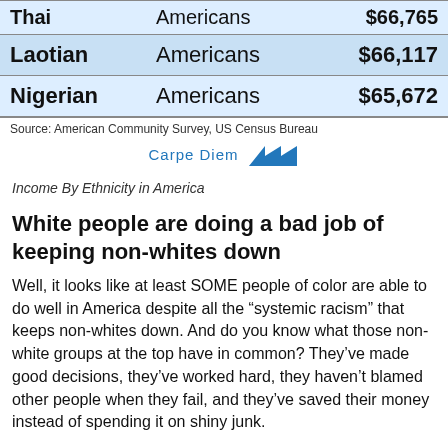|  | Americans | Income |
| --- | --- | --- |
| Thai | Americans | $66,765 |
| Laotian | Americans | $66,117 |
| Nigerian | Americans | $65,672 |
Source: American Community Survey, US Census Bureau
Carpe Diem AEI
Income By Ethnicity in America
White people are doing a bad job of keeping non-whites down
Well, it looks like at least SOME people of color are able to do well in America despite all the “systemic racism” that keeps non-whites down. And do you know what those non-white groups at the top have in common? They’ve made good decisions, they’ve worked hard, they haven’t blamed other people when they fail, and they’ve saved their money instead of spending it on shiny junk.